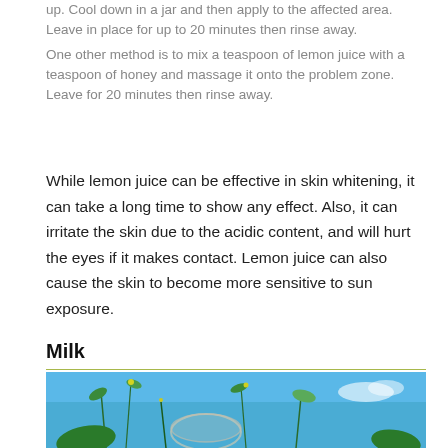up. Cool down in a jar and then apply to the affected area. Leave in place for up to 20 minutes then rinse away.
One other method is to mix a teaspoon of lemon juice with a teaspoon of honey and massage it onto the problem zone. Leave for 20 minutes then rinse away.
While lemon juice can be effective in skin whitening, it can take a long time to show any effect. Also, it can irritate the skin due to the acidic content, and will hurt the eyes if it makes contact. Lemon juice can also cause the skin to become more sensitive to sun exposure.
Milk
[Figure (photo): Photo of plants and herbs against a blue sky background, likely depicting natural/herbal ingredients related to milk or skin care remedies.]